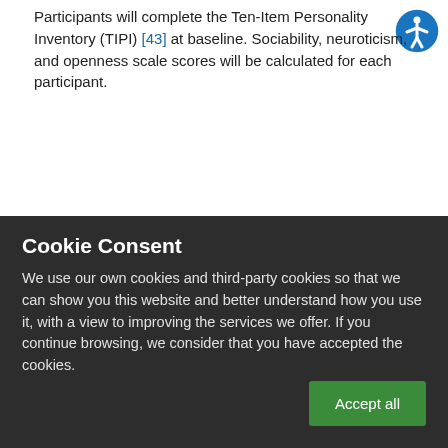Participants will complete the Ten-Item Personality Inventory (TIPI) [43] at baseline. Sociability, neuroticism, and openness scale scores will be calculated for each participant.
Social Network Use
At baseline, participants report which online social networks they have accounts on and frequency of online social network use in the
Cookie Consent
We use our own cookies and third-party cookies so that we can show you this website and better understand how you use it, with a view to improving the services we offer. If you continue browsing, we consider that you have accepted the cookies.